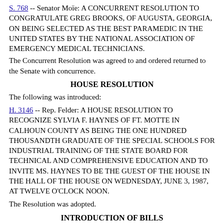S. 768 -- Senator Moïe: A CONCURRENT RESOLUTION TO CONGRATULATE GREG BROOKS, OF AUGUSTA, GEORGIA, ON BEING SELECTED AS THE BEST PARAMEDIC IN THE UNITED STATES BY THE NATIONAL ASSOCIATION OF EMERGENCY MEDICAL TECHNICIANS.
The Concurrent Resolution was agreed to and ordered returned to the Senate with concurrence.
HOUSE RESOLUTION
The following was introduced:
H. 3146 -- Rep. Felder: A HOUSE RESOLUTION TO RECOGNIZE SYLVIA F. HAYNES OF FT. MOTTE IN CALHOUN COUNTY AS BEING THE ONE HUNDRED THOUSANDTH GRADUATE OF THE SPECIAL SCHOOLS FOR INDUSTRIAL TRAINING OF THE STATE BOARD FOR TECHNICAL AND COMPREHENSIVE EDUCATION AND TO INVITE MS. HAYNES TO BE THE GUEST OF THE HOUSE IN THE HALL OF THE HOUSE ON WEDNESDAY, JUNE 3, 1987, AT TWELVE O'CLOCK NOON.
The Resolution was adopted.
INTRODUCTION OF BILLS